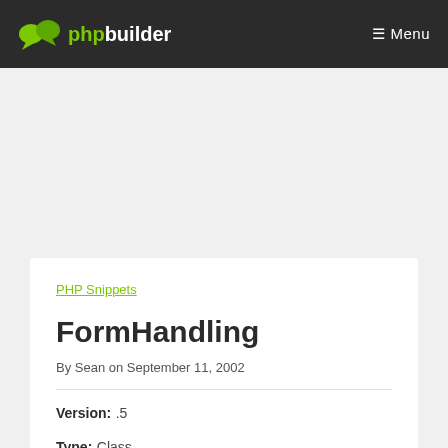phpbuilder  Menu
PHP Snippets
FormHandling
By Sean on September 11, 2002
Version: .5
Type: Class